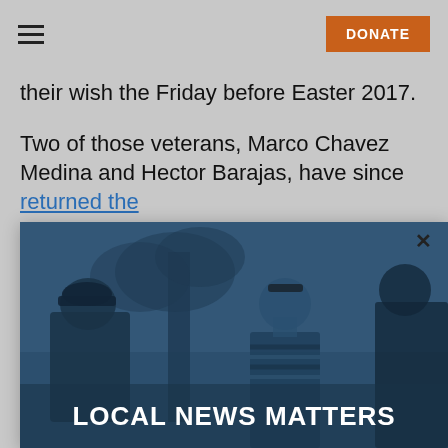DONATE
their wish the Friday before Easter 2017.
Two of those veterans, Marco Chavez Medina and Hector Barajas, have since returned the
[Figure (photo): Dark blue-tinted photo of people conversing outdoors near a tree, with a woman in a striped shirt visible. A modal overlay shows 'LOCAL NEWS MATTERS' text at the bottom.]